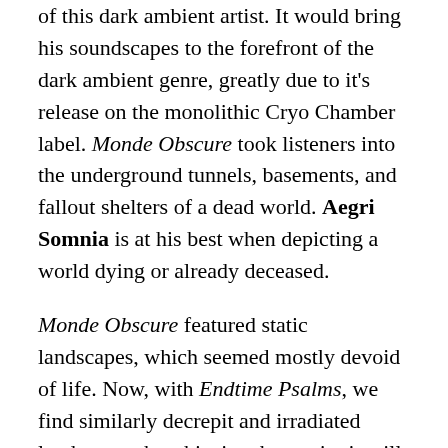of this dark ambient artist. It would bring his soundscapes to the forefront of the dark ambient genre, greatly due to it's release on the monolithic Cryo Chamber label. Monde Obscure took listeners into the underground tunnels, basements, and fallout shelters of a dead world. Aegri Somnia is at his best when depicting a world dying or already deceased.
Monde Obscure featured static landscapes, which seemed mostly devoid of life. Now, with Endtime Psalms, we find similarly decrepit and irradiated landscapes, but this time humanity is still present. Endtime Psalms is a living and breathing entity. The echoes of our civilizations still reverberate through the decaying walls. It depicts a world that is actively dying, a sentiment that is blatantly referred to in tracks like